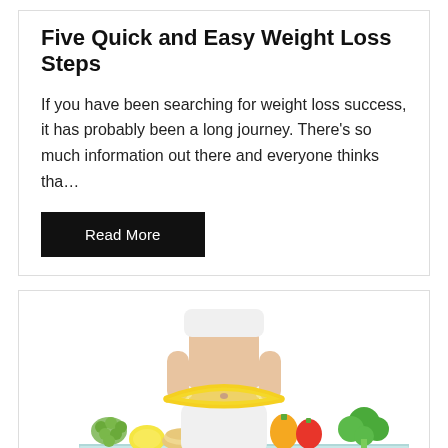Five Quick and Easy Weight Loss Steps
If you have been searching for weight loss success, it has probably been a long journey. There's so much information out there and everyone thinks tha…
Read More
[Figure (photo): A slim woman in white sportswear with a yellow tape measure around her waist, standing behind a table with various fruits and vegetables including grapes, lemon, tomatoes, peppers, and broccoli.]